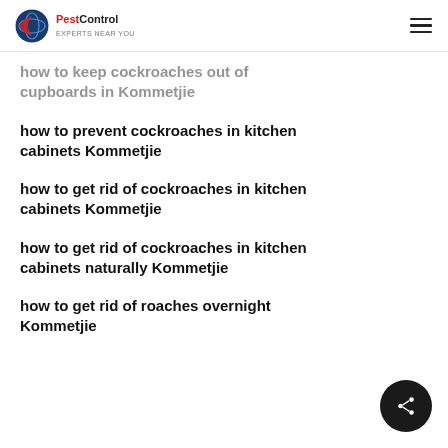PestControl
how to keep cockroaches out of cupboards in Kommetjie
how to prevent cockroaches in kitchen cabinets Kommetjie
how to get rid of cockroaches in kitchen cabinets Kommetjie
how to get rid of cockroaches in kitchen cabinets naturally Kommetjie
how to get rid of roaches overnight Kommetjie